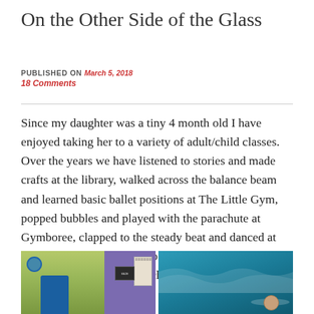On the Other Side of the Glass
PUBLISHED ON March 5, 2018
18 Comments
Since my daughter was a tiny 4 month old I have enjoyed taking her to a variety of adult/child classes. Over the years we have listened to stories and made crafts at the library, walked across the balance beam and learned basic ballet positions at The Little Gym, popped bubbles and played with the parachute at Gymboree, clapped to the steady beat and danced at Kindermusik and learned to float independently in the pool at the British Swim School.
[Figure (photo): Two side-by-side photos: left shows a gym/activity class interior with green walls and purple accent wall, a person in blue visible; right shows a swimming pool with turquoise water and a child's head visible.]